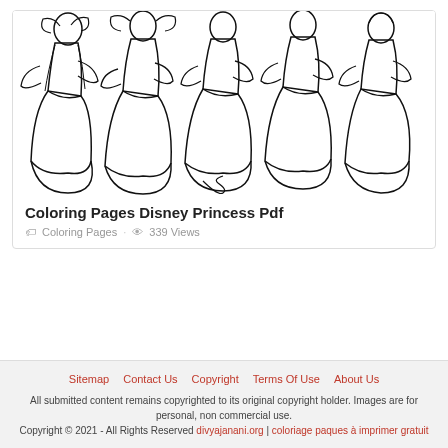[Figure (illustration): Black and white coloring page illustration of multiple Disney princesses including Jasmine, Snow White, Aurora, and Ariel standing together in a group pose]
Coloring Pages Disney Princess Pdf
🏷 Coloring Pages · 👁 339 Views
Sitemap | Contact Us | Copyright | Terms Of Use | About Us
All submitted content remains copyrighted to its original copyright holder. Images are for personal, non commercial use.
Copyright © 2021 - All Rights Reserved divyajanani.org | coloriage paques à imprimer gratuit